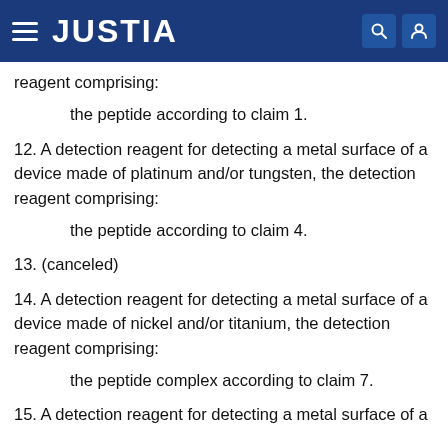JUSTIA
reagent comprising:
the peptide according to claim 1.
12. A detection reagent for detecting a metal surface of a device made of platinum and/or tungsten, the detection reagent comprising:
the peptide according to claim 4.
13. (canceled)
14. A detection reagent for detecting a metal surface of a device made of nickel and/or titanium, the detection reagent comprising:
the peptide complex according to claim 7.
15. A detection reagent for detecting a metal surface of a